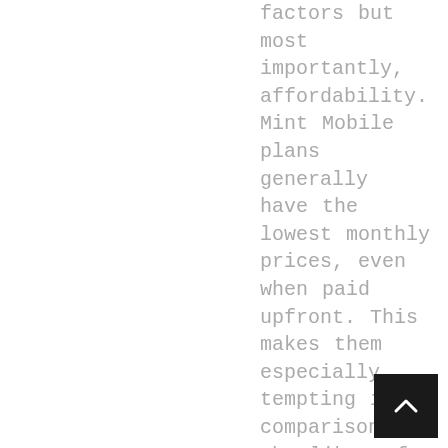factors but most importantly, affordability. Mint Mobile plans generally have the lowest monthly prices, even when paid upfront. This makes them especially tempting in comparison to the likes of AT&T Verizon Secondly, Mint uses the T-Mobile network to provide coverage. T-Mobile is an excellent phone provider and one of the most reliable networks. Mint has the advantage of being able to piggyback on T-Mobile's 5G network. Assuming you purchase the right 5G handset, this assumes it. Mint will detect which LTE or5G signal you have and connect accordingly. T-Mobile can slow down Mint